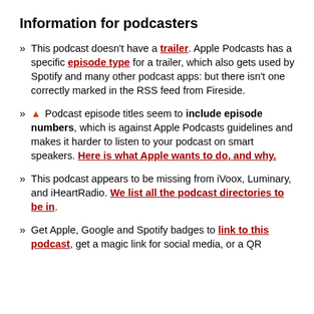Information for podcasters
This podcast doesn't have a trailer. Apple Podcasts has a specific episode type for a trailer, which also gets used by Spotify and many other podcast apps: but there isn't one correctly marked in the RSS feed from Fireside.
⚠ Podcast episode titles seem to include episode numbers, which is against Apple Podcasts guidelines and makes it harder to listen to your podcast on smart speakers. Here is what Apple wants to do, and why.
This podcast appears to be missing from iVoox, Luminary, and iHeartRadio. We list all the podcast directories to be in.
Get Apple, Google and Spotify badges to link to this podcast, get a magic link for social media, or a QR